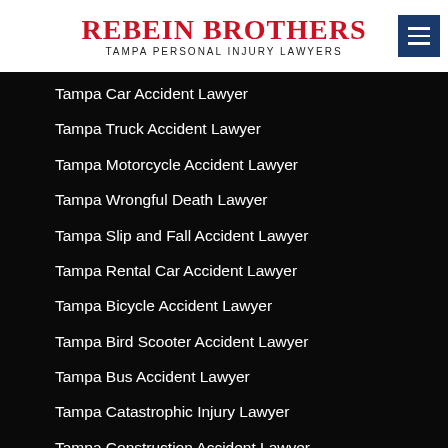Rebein Brothers Tampa Personal Injury Lawyers
Tampa Car Accident Lawyer
Tampa Truck Accident Lawyer
Tampa Motorcycle Accident Lawyer
Tampa Wrongful Death Lawyer
Tampa Slip and Fall Accident Lawyer
Tampa Rental Car Accident Lawyer
Tampa Bicycle Accident Lawyer
Tampa Bird Scooter Accident Lawyer
Tampa Bus Accident Lawyer
Tampa Catastrophic Injury Lawyer
Tampa Construction Accident Lawyer